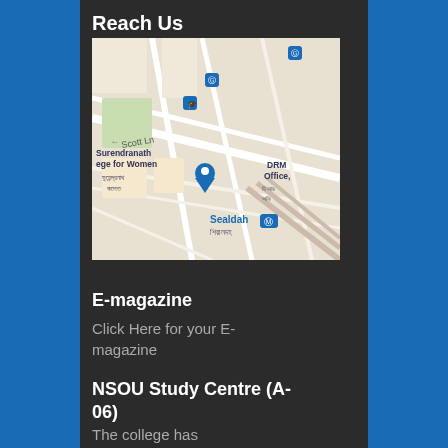Reach Us
[Figure (map): Google Maps screenshot showing location near Surendranath College for Women, Scott Ln, Sealdah, DRM Office area in Kolkata]
E-magazine
Click Here for your E-magazine
NSOU Study Centre (A-06)
The college has prestigious Netaji Subhas